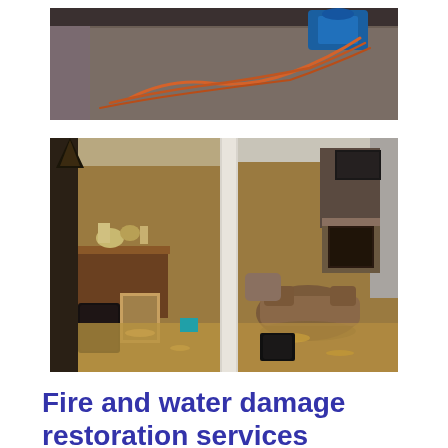[Figure (photo): Indoor scene showing a room with carpet being dried by restoration equipment. Orange hoses/cords run across the floor. A blue restoration machine is visible in the background corner.]
[Figure (photo): Two-panel view of a flooded basement living area. Left panel shows a bar/counter area with household items, the floor covered in brownish flood water. Right panel shows a living room with sofa chairs and a fireplace with TV, all surrounded by flood water.]
Fire and water damage restoration services